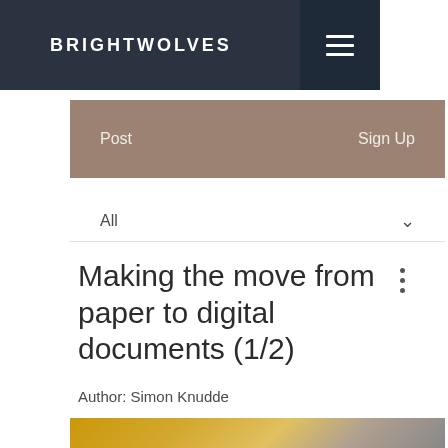BRIGHTWOLVES
Post    Sign Up
All
Making the move from paper to digital documents (1/2)
Author: Simon Knudde
[Figure (photo): Blurred photo of papers and objects on a desk with golden/orange hues]